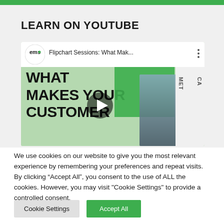LEARN ON YOUTUBE
[Figure (screenshot): YouTube video thumbnail showing 'Flipchart Sessions: What Mak...' with EMS logo, bold text reading 'WHAT MAKES YOUR CUSTOMER' partially visible, a woman with glasses in a blue blazer against a green background, and a play button overlay]
We use cookies on our website to give you the most relevant experience by remembering your preferences and repeat visits. By clicking “Accept All”, you consent to the use of ALL the cookies. However, you may visit "Cookie Settings" to provide a controlled consent.
Cookie Settings   Accept All